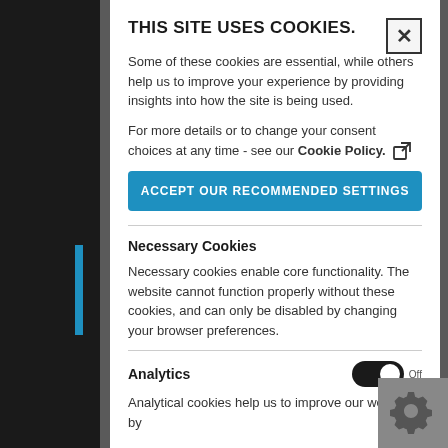THIS SITE USES COOKIES.
Some of these cookies are essential, while others help us to improve your experience by providing insights into how the site is being used.
For more details or to change your consent choices at any time - see our Cookie Policy.
[Figure (other): Blue button labelled ACCEPT OUR RECOMMENDED SETTINGS]
Necessary Cookies
Necessary cookies enable core functionality. The website cannot function properly without these cookies, and can only be disabled by changing your browser preferences.
Analytics
Analytical cookies help us to improve our website by